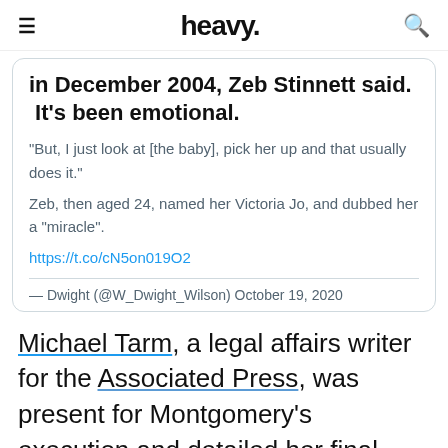heavy.
in December 2004, Zeb Stinnett said. "It's been emotional."
"But, I just look at [the baby], pick her up and that usually does it."
Zeb, then aged 24, named her Victoria Jo, and dubbed her a "miracle".
https://t.co/cN5on019O2
— Dwight (@W_Dwight_Wilson) October 19, 2020
Michael Tarm, a legal affairs writer for the Associated Press, was present for Montgomery's execution and detailed her final moments. He wrote during the early morning hours as he and other